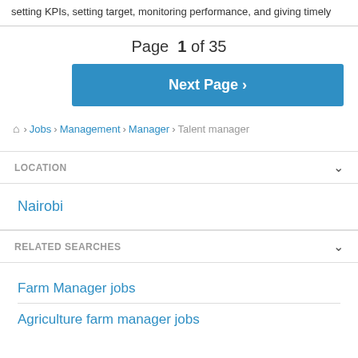setting KPIs, setting target, monitoring performance, and giving timely
Page 1 of 35
Next Page ›
🏠 › Jobs › Management › Manager › Talent manager
LOCATION
Nairobi
RELATED SEARCHES
Farm Manager jobs
Agriculture farm manager jobs